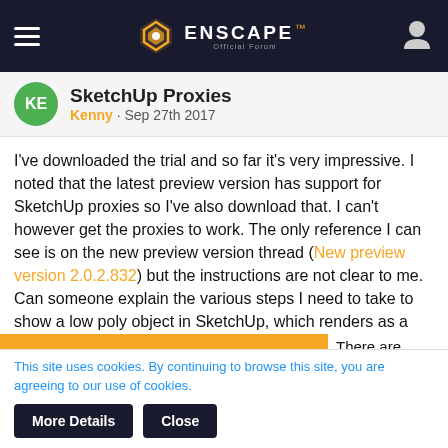ENSCAPE — Official Forum
SketchUp Proxies
Kenny · Sep 27th 2017
I've downloaded the trial and so far it's very impressive. I noted that the latest preview version has support for SketchUp proxies so I've also download that. I can't however get the proxies to work. The only reference I can see is on the new preview version thread (New preview version 2.0.2.832) but the instructions are not clear to me. Can someone explain the various steps I need to take to show a low poly object in SketchUp, which renders as a high poly object in Enscape?
By using our website you accept that we use cookies to track usage and improve the relevancy of ads and may...
There are various has got me up and hensive online
This site uses cookies. By continuing to browse this site, you are agreeing to our use of cookies.